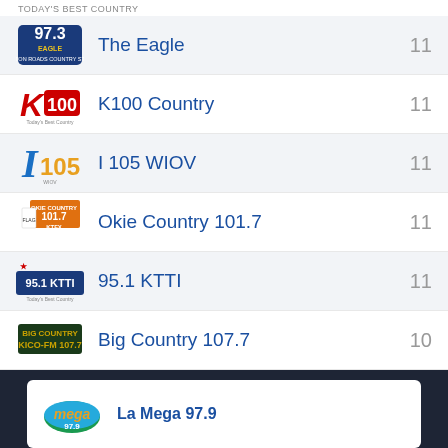TODAY'S BEST COUNTRY
The Eagle 11
K100 Country 11
I 105 WIOV 11
Okie Country 101.7 11
95.1 KTTI 11
Big Country 107.7 10
La Mega 97.9